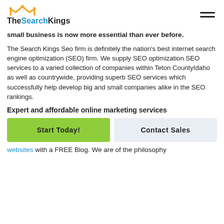TheSearchKings
small business is now more essential than ever before.
The Search Kings Seo firm is definitely the nation's best internet search engine optimization (SEO) firm. We supply SEO optimization SEO services to a varied collection of companies within Teton CountyIdaho as well as countrywide, providing superb SEO services which successfully help develop big and small companies alike in the SEO rankings.
Expert and affordable online marketing services
Start Today!
Contact Sales
websites with a FREE Blog. We are of the philosophy